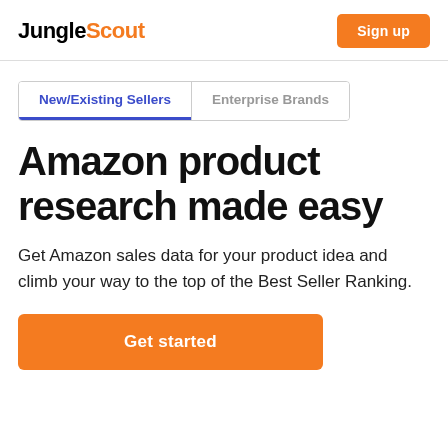JungleScout — Sign up
New/Existing Sellers  Enterprise Brands
Amazon product research made easy
Get Amazon sales data for your product idea and climb your way to the top of the Best Seller Ranking.
Get started